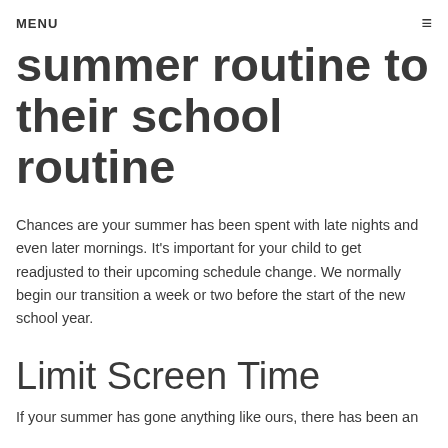MENU
summer routine to their school routine
Chances are your summer has been spent with late nights and even later mornings. It's important for your child to get readjusted to their upcoming schedule change. We normally begin our transition a week or two before the start of the new school year.
Limit Screen Time
If your summer has gone anything like ours, there has been an